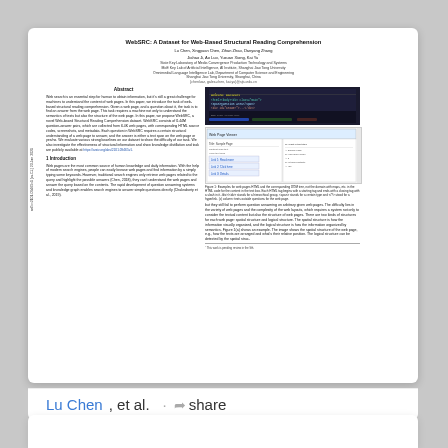WebSRC: A Dataset for Web-Based Structural Reading Comprehension
Lu Chen, Xingyu Chen, Zihan Zhao, Danyang Zhang Jiahao Ji, Ao Luo, Yuxuan Xiong, Kai Yu
State Key Laboratory of Media Convergence Production Technology and Systems MoE Key Lab of Artificial Intelligence, AI Institute, Shanghai Jiao Tong University Omnimedial Language Intelligence Lab, Department of Computer Science and Engineering Shanghai Jiao Tong University, Shanghai, China {chenlusz, galex-chen, kai.yu}@sjtu.edu.cn
Abstract
Web search is an essential step for human to obtain information, but it's still a great challenge for machines to understand the content of web pages. In this paper, we introduce the task of web-based structural reading comprehension. Given a web page, and a question about it, the task is to find an answer from the web page. This task requires a machine not only to understand the semantics of texts but also the structure of the web page. In this paper, we propose WebSRC, a novel Web-based Structural Reading Comprehension dataset. WebSRC consists of 0.44M question-answer pairs, which are collected from 6.4K web pages, with corresponding HTML source codes, screenshots, and metadata. Each question in WebSRC requires a certain structural understanding of a web page to answer, and the answer is either a text span on the web page or yes/no. We evaluate various strong baselines on our dataset to show the difficulty of our task. We also investigate the effectiveness of structural information and show knowledge distillation and task are publicly available at https://arxiv.org/abs/2101.09465v1.
[Figure (screenshot): Screenshot of a web page with dark background showing HTML code/content]
[Figure (screenshot): Screenshot of a web page showing structured content with form-like layout]
Figure 1: Examples for web pages HTML and the corresponding DOM tree, not the domain with maps, etc. in the HTML code for the content in the text box. Each HTML tag begins with a starting tag and ends with a closing tag with a slash in it. /div>/<div> stands for a hierarchical group, <span> stands for a certain type and </?> stood for a hyperlink. (c) column: texts outside questions for the web page.
1 Introduction
Web pages are the most common source of human knowledge and daily information. With the help of modern search engines, people can easily browse web pages and find information by simply typing some keywords. However, traditional search engines only retrieve web pages related to the query and highlight the possible answers (Chen, 2018), they can't understand the web pages and answer the query based on the contents. The rapid development of question answering systems and knowledge graph enables search engines to answer simple questions directly (Chakraborty et al., 2019).
but they still fail to perform question answering on arbitrary given web pages. The difficulty lies in the variety of web pages and the complexity of the web layouts, which requires a system not only to consider the textual content but also the structure of web pages. There are two kinds of structures for each web page: spatial structure and logical structure. The spatial structure is how the information visually organized, and the logical structure is how the information organized by semantics. Figure 1(a) shows an example. The image shows the spatial structure of the web page, e.g., how the texts are arranged and what's their relative position. The logical structure can be detected by the spatial struc-
* This work is pending review in the 9th.
Lu Chen, et al. · share